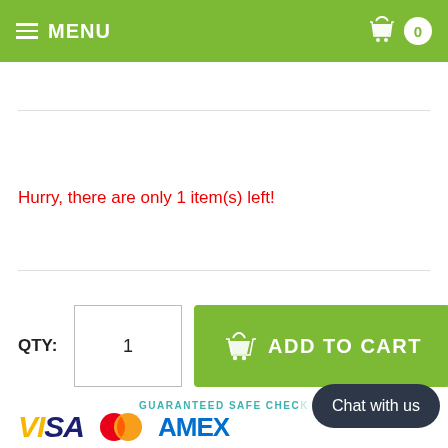MENU | Cart: 0
Hurry, there are only 1 item(s) left!
QTY: 1  ADD TO CART
GUARANTEED SAFE CHECKOUT
[Figure (infographic): Payment method logos: VISA, MasterCard, AMEX]
Chat with us